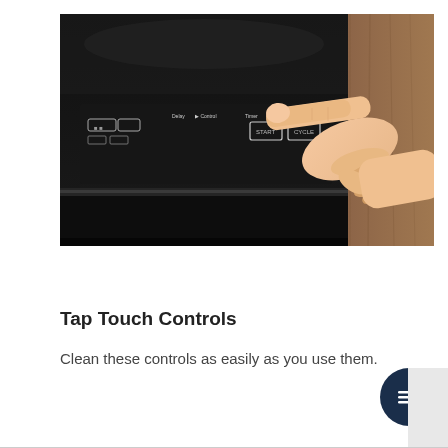[Figure (photo): A hand with index finger pointing/tapping the touch control panel of a black dishwasher or appliance. The control panel shows rectangular touch button icons. The appliance is set against a wood-grain background.]
Tap Touch Controls
Clean these controls as easily as you use them.